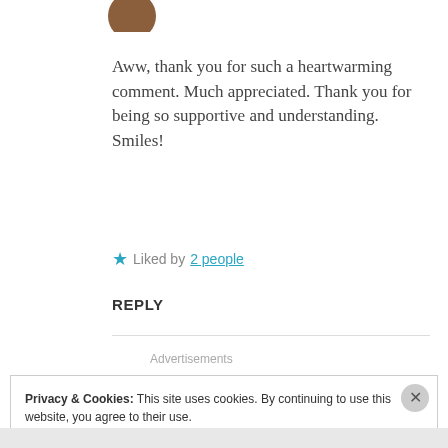[Figure (photo): Circular avatar photo of a person, partially cropped at top]
Aww, thank you for such a heartwarming comment. Much appreciated. Thank you for being so supportive and understanding. Smiles!
★ Liked by 2 people
REPLY
Advertisements
Privacy & Cookies: This site uses cookies. By continuing to use this website, you agree to their use. To find out more, including how to control cookies, see here: Cookie Policy
Close and accept